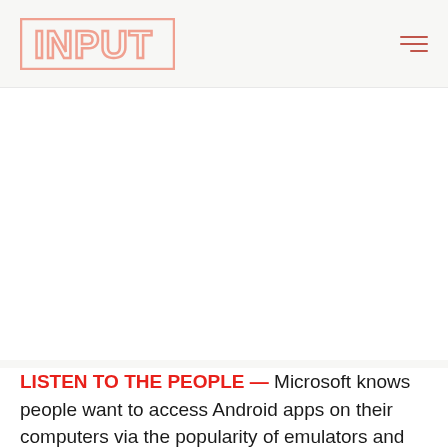INPUT
LISTEN TO THE PEOPLE — Microsoft knows people want to access Android apps on their computers via the popularity of emulators and other workarounds. After